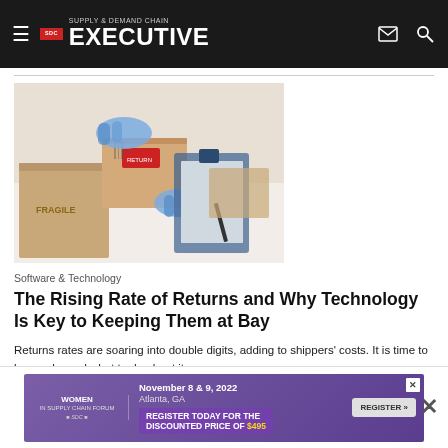Supply & Demand Chain EXECUTIVE
[Figure (photo): Hands wearing blue gloves handling a cardboard shipping box with a fragile label and return label, with a clipboard and pen in the background on a white surface]
Software & Technology
The Rising Rate of Returns and Why Technology Is Key to Keeping Them at Bay
Returns rates are soaring into double digits, adding to shippers' costs. It is time to know why and what to do about it.
OneRail | August 9, 2022
[Figure (infographic): Advertisement banner for Women in Supply Chain Forum: November 8 & 9, 2022 Atlanta, GA. Register today for the discounted price of $495.]